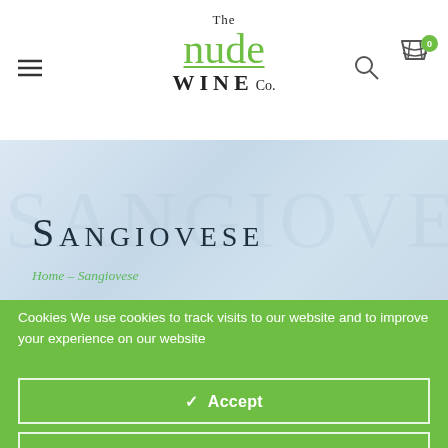[Figure (logo): The Nude Wine Co. logo with green 'nude' text and dark 'WINE Co.' text]
Sangiovese
Home → Sangiovese
Cookies We use cookies to track visits to our website and to improve your experience on our website
✓  Accept
Change Settings ⚙